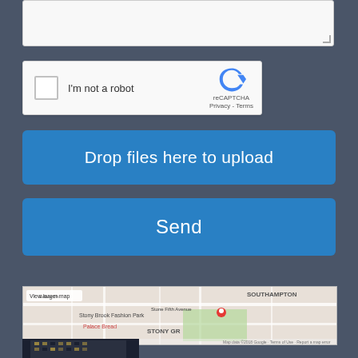[Figure (screenshot): Textarea input box at top of form with resize handle at bottom right]
[Figure (screenshot): reCAPTCHA widget with checkbox labeled 'I'm not a robot', reCAPTCHA logo, and Privacy/Terms links]
I'm not a robot
reCAPTCHA
Privacy - Terms
Drop files here to upload
Send
[Figure (map): Google Maps embed showing Stony Brook area with SOUTHAMPTON label visible, red location pin, streets and landmarks including Stony Brook Fashion Park, Palace Bread, and Fifth Avenue labels]
[Figure (photo): Partial photo of a tall dark office building at night with lit windows]